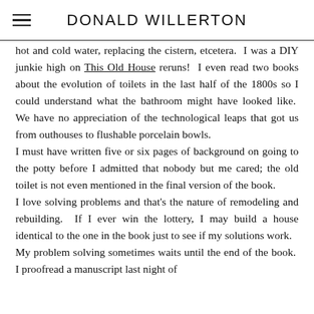DONALD WILLERTON
hot and cold water, replacing the cistern, etcetera. I was a DIY junkie high on This Old House reruns! I even read two books about the evolution of toilets in the last half of the 1800s so I could understand what the bathroom might have looked like. We have no appreciation of the technological leaps that got us from outhouses to flushable porcelain bowls.
I must have written five or six pages of background on going to the potty before I admitted that nobody but me cared; the old toilet is not even mentioned in the final version of the book.
I love solving problems and that's the nature of remodeling and rebuilding. If I ever win the lottery, I may build a house identical to the one in the book just to see if my solutions work.
My problem solving sometimes waits until the end of the book. I proofread a manuscript last night of